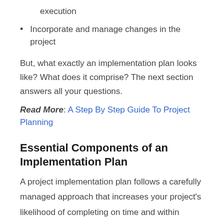execution
Incorporate and manage changes in the project
But, what exactly an implementation plan looks like? What does it comprise? The next section answers all your questions.
Read More: A Step By Step Guide To Project Planning
Essential Components of an Implementation Plan
A project implementation plan follows a carefully managed approach that increases your project's likelihood of completing on time and within budget while meeting the quality standards.